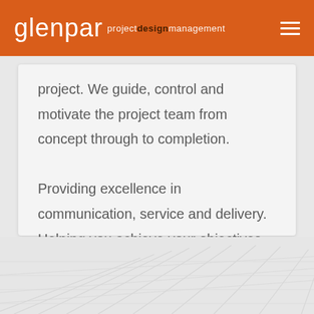glenpar project design management
project. We guide, control and motivate the project team from concept through to completion.

Providing excellence in communication, service and delivery. Helping you achieve your objectives, on time and within budget.
[Figure (illustration): Abstract architectural or geometric line pattern in light grey/white tones at the bottom of the page]